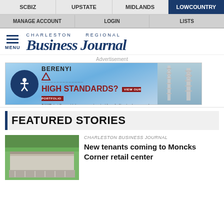SCBIZ | UPSTATE | MIDLANDS | LOWCOUNTRY
MANAGE ACCOUNT | LOGIN | LISTS
[Figure (logo): Charleston Regional Business Journal logo with hamburger menu icon]
Advertisement
[Figure (photo): Berenyi advertisement banner: HIGH STANDARDS? VIEW OUR PORTFOLIO. SAME. Let Berenyi take your next project from fruition to phenomenal. Shows industrial towers against blue sky.]
FEATURED STORIES
[Figure (photo): Aerial photo of Moncks Corner retail center]
CHARLESTON BUSINESS JOURNAL
New tenants coming to Moncks Corner retail center